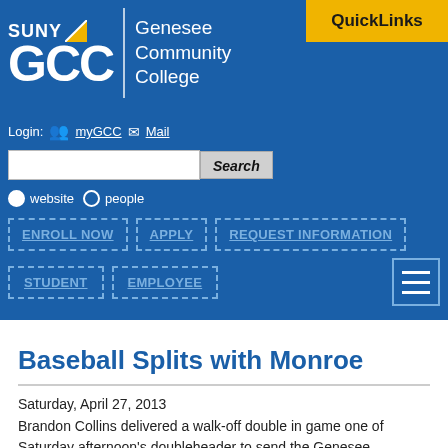[Figure (logo): SUNY GCC Genesee Community College logo with blue background and white text]
QuickLinks
Login: myGCC Mail
Search [input] website people
ENROLL NOW | APPLY | REQUEST INFORMATION | STUDENT | EMPLOYEE
Baseball Splits with Monroe
Saturday, April 27, 2013
Brandon Collins delivered a walk-off double in game one of Saturday afternoon's doubleheader to send the Genesee